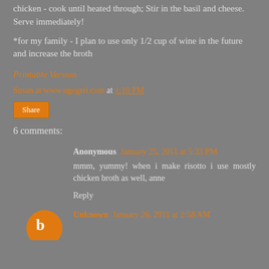chicken - cook until heated through; Stir in the basil and cheese. Serve immediately!
*for my family - I plan to use only 1/2 cup of wine in the future and increase the broth
Printable Version
Susan at www.ugogrrl.com at 1:10 PM
Share
6 comments:
Anonymous January 25, 2011 at 5:33 PM
mmm, yummy! when i make risotto i use mostly chicken broth as well, anne
Reply
Unknown January 26, 2011 at 2:58 AM